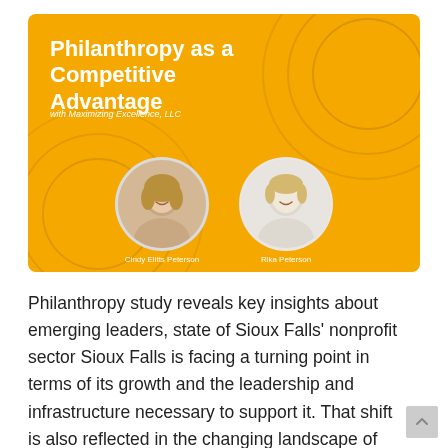[Figure (illustration): Golden/amber banner image with title 'Philanthropy as a Competitive Advantage' and subtitle 'with Maximizing Excellence, LLC'. Features two circular portrait photos labeled 'Cindy Elitts Peterson' and 'Rika Peterson' on a gold background with decorative concentric circle outlines.]
Philanthropy study reveals key insights about emerging leaders, state of Sioux Falls' nonprofit sector Sioux Falls is facing a turning point in terms of its growth and the leadership and infrastructure necessary to support it. That shift is also reflected in the changing landscape of the city's nonprofit sector.